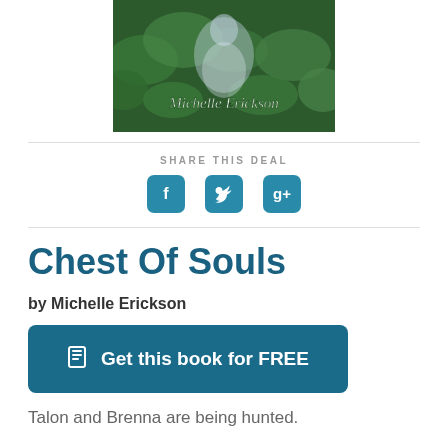[Figure (illustration): Book cover image showing a fantasy scene with 'Michelle Erickson' text overlaid in cursive white font, featuring green foliage and a mystical figure]
SHARE THIS DEAL
[Figure (infographic): Three social media share buttons: Facebook (f), Twitter (bird), and Google+ (g+) as teal rounded square icons]
Chest Of Souls
by Michelle Erickson
Get this book for FREE
Talon and Brenna are being hunted.